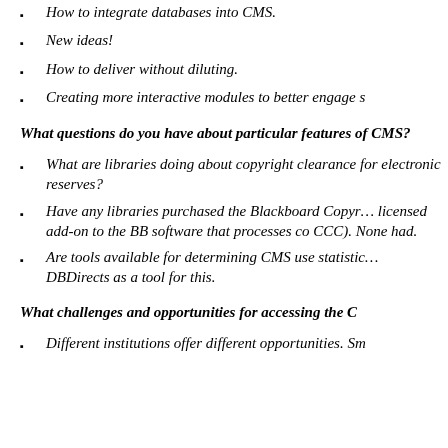How to integrate databases into CMS.
New ideas!
How to deliver without diluting.
Creating more interactive modules to better engage s
What questions do you have about particular features of CMS?
What are libraries doing about copyright clearance for electronic reserves?
Have any libraries purchased the Blackboard Copyright licensed add-on to the BB software that processes co CCC). None had.
Are tools available for determining CMS use statistics? DBDirects as a tool for this.
What challenges and opportunities for accessing the C
Different institutions offer different opportunities. Sm